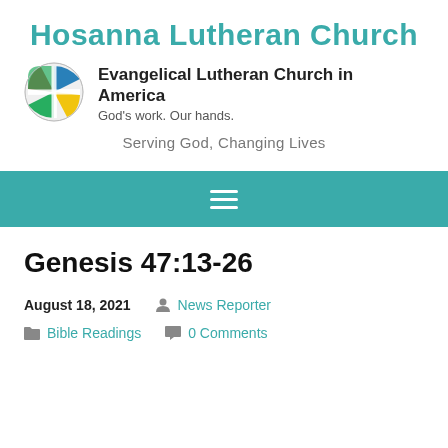Hosanna Lutheran Church
[Figure (logo): ELCA globe/cross logo with colorful segments]
Evangelical Lutheran Church in America
God's work. Our hands.
Serving God, Changing Lives
Navigation menu bar (hamburger icon)
Genesis 47:13-26
August 18, 2021
News Reporter
Bible Readings
0 Comments